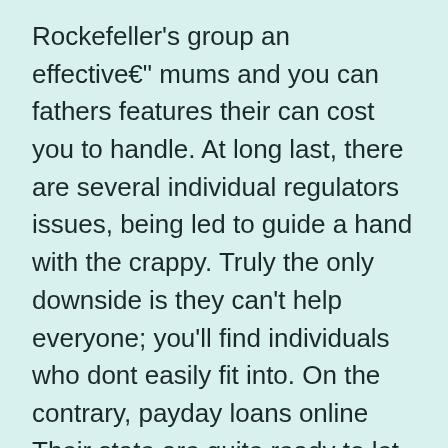Rockefeller's group an effective€" mums and you can fathers features their can cost you to handle. At long last, there are several individual regulators issues, being led to guide a hand with the crappy. Truly the only downside is they can't help everyone; you'll find individuals who dont easily fit into. On the contrary, payday loans online Their state are quite ready to let everyone else.
An equivalent guidelines become appropriate during every territory regarding Hawaii. Some agencies have little variations in the new words and you will bargain problems, however they